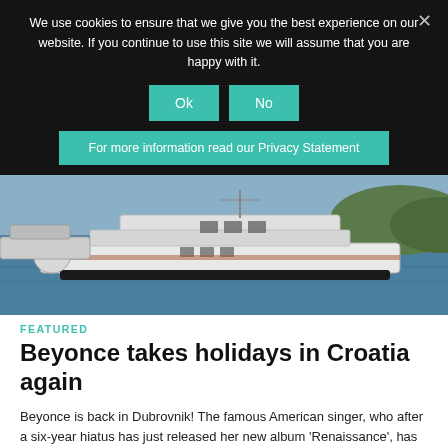We use cookies to ensure that we give you the best experience on our website. If you continue to use this site we will assume that you are happy with it.
Ok
No
For more information read our Privacy Statement
[Figure (photo): A large white yacht on blue water near a coastal area with trees visible on the right side.]
FEATURED
Beyonce takes holidays in Croatia again
Beyonce is back in Dubrovnik! The famous American singer, who after a six-year hiatus has just released her new album 'Renaissance', has again chosen Dubrovnik as the place for…